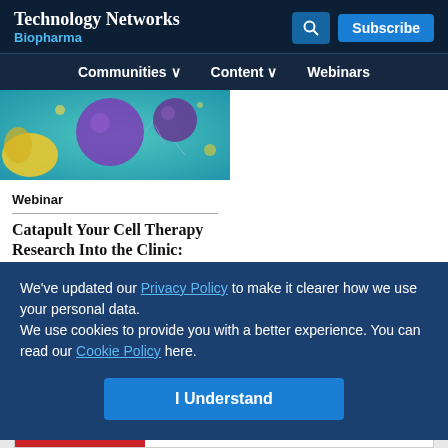Technology Networks Biopharma
Communities Content Webinars
[Figure (photo): Scientific image showing stylized virus or cell particles — purple spherical shapes and yellow/teal structures on a blue-green background]
Webinar
Catapult Your Cell Therapy Research Into the Clinic:
Beyond Immuno-Oncology
We've updated our Privacy Policy to make it clearer how we use your personal data.
We use cookies to provide you with a better experience. You can read our Cookie Policy here.
I Understand
Advertisement
[Figure (other): ThermoFisher Scientific advertisement banner: 'Do you use qPCR and dPCR to develop biologics?' with Explore now button and Applied Biosystems logo]